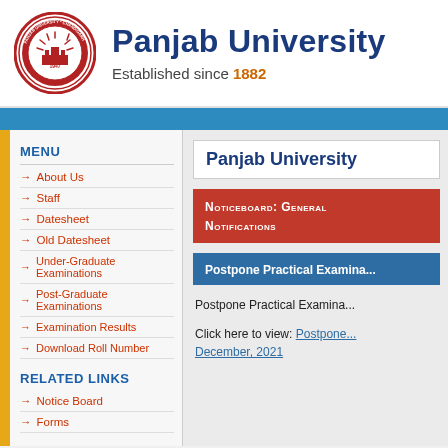[Figure (logo): Panjab University circular seal/crest in red with imagery and text, 1947]
Panjab University
Established since 1882
MENU
About Us
Staff
Datesheet
Old Datesheet
Under-Graduate Examinations
Post-Graduate Examinations
Examination Results
Download Roll Number
RELATED LINKS
Notice Board
Forms
Panjab University
Noticeboard: General Notifications
Postpone Practical Examina...
Postpone Practical Examina...
Click here to view: Postpone... December, 2021